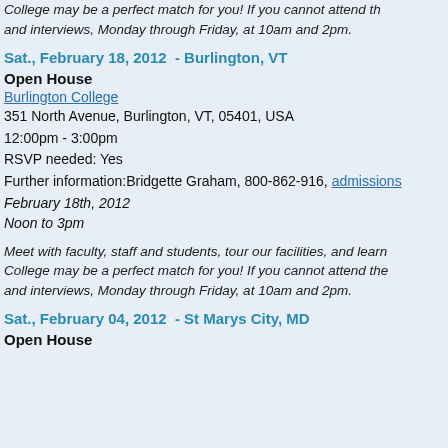College may be a perfect match for you! If you cannot attend the and interviews, Monday through Friday, at 10am and 2pm.
Sat., February 18, 2012  - Burlington, VT
Open House
Burlington College
351 North Avenue, Burlington, VT, 05401, USA
12:00pm - 3:00pm
RSVP needed: Yes
Further information:Bridgette Graham, 800-862-916, admissions
February 18th, 2012
Noon to 3pm
Meet with faculty, staff and students, tour our facilities, and learn College may be a perfect match for you! If you cannot attend the and interviews, Monday through Friday, at 10am and 2pm.
Sat., February 04, 2012  - St Marys City, MD
Open House